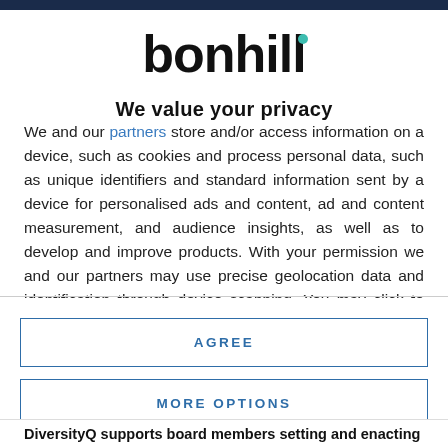[Figure (logo): Bonhill logo — bold black lowercase text 'bonhill' with a small teal/green dot above the letter i]
We value your privacy
We and our partners store and/or access information on a device, such as cookies and process personal data, such as unique identifiers and standard information sent by a device for personalised ads and content, ad and content measurement, and audience insights, as well as to develop and improve products. With your permission we and our partners may use precise geolocation data and identification through device scanning. You may click to consent to our and our partners' processing as described above. Alternatively you may access more
AGREE
MORE OPTIONS
DiversityQ supports board members setting and enacting